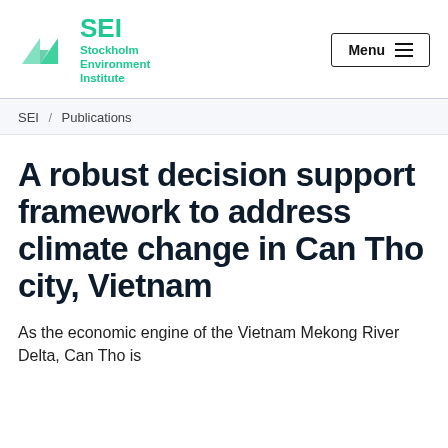SEI Stockholm Environment Institute | Menu
SEI / Publications
A robust decision support framework to address climate change in Can Tho city, Vietnam
As the economic engine of the Vietnam Mekong River Delta, Can Tho is...